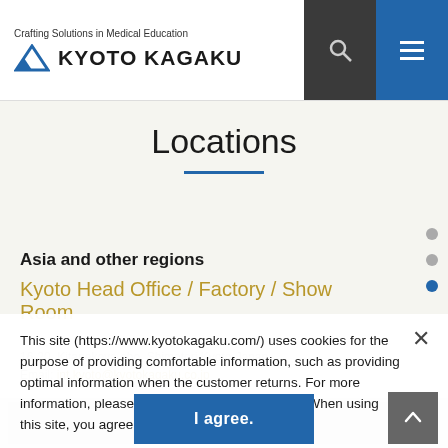Crafting Solutions in Medical Education | KYOTO KAGAKU
Locations
Asia and other regions
Kyoto Head Office / Factory / Show Room
This site (https://www.kyotokagaku.com/) uses cookies for the purpose of providing comfortable information, such as providing optimal information when the customer returns. For more information, please see the site's privacy policy. When using this site, you agree to the use of cookies.
Email: int.kyoto@kyotokagaku.co.jp